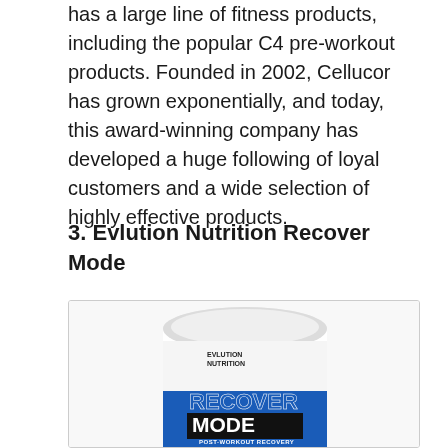has a large line of fitness products, including the popular C4 pre-workout products. Founded in 2002, Cellucor has grown exponentially, and today, this award-winning company has developed a huge following of loyal customers and a wide selection of highly effective products.
3. Evlution Nutrition Recover Mode
[Figure (photo): Photo of Evlution Nutrition Recover Mode post-workout recovery supplement tub, white container with blue label showing 'RECOVER MODE' text and 'POST-WORKOUT RECOVERY' branding]